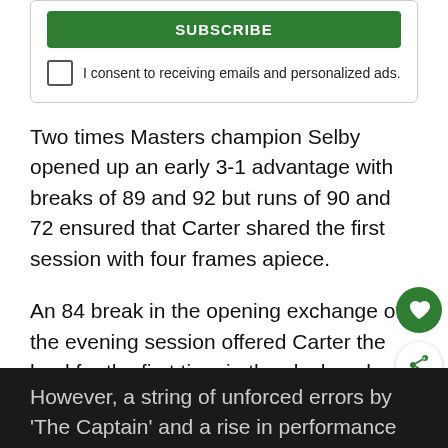[Figure (screenshot): Subscribe button (green) and consent checkbox UI element]
Two times Masters champion Selby opened up an early 3-1 advantage with breaks of 89 and 92 but runs of 90 and 72 ensured that Carter shared the first session with four frames apiece.
An 84 break in the opening exchange of the evening session offered Carter the lead for the first time in the clash as he sought to open this season as he did in the last campaign with his early triumph at the Shanghai Masters.
However, a string of unforced errors by 'The Captain' and a rise in performance from his